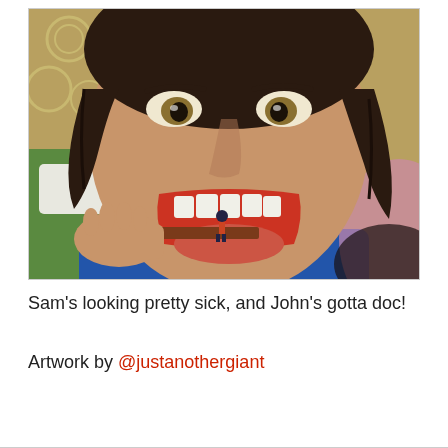[Figure (illustration): Digital illustration of a large person with dark hair, open mouth showing teeth and tongue, with a tiny figure of a person being placed near the open mouth. Background shows a bedroom with green bedding and patterned wallpaper.]
Sam’s looking pretty sick, and John’s gotta doc!
Artwork by @justanothergiant